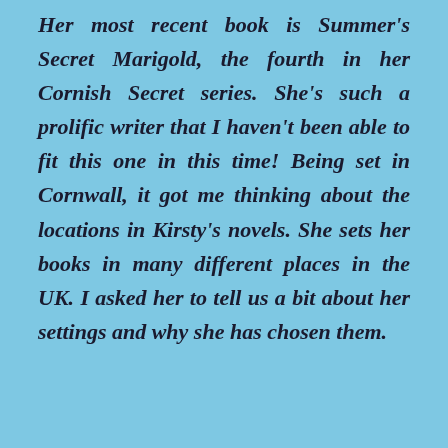Her most recent book is Summer's Secret Marigold, the fourth in her Cornish Secret series. She's such a prolific writer that I haven't been able to fit this one in this time! Being set in Cornwall, it got me thinking about the locations in Kirsty's novels. She sets her books in many different places in the UK. I asked her to tell us a bit about her settings and why she has chosen them.